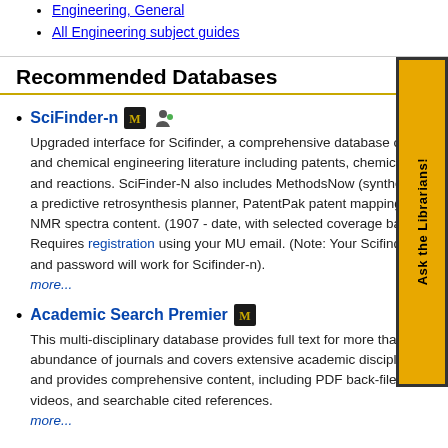Engineering, General
All Engineering subject guides
Recommended Databases
SciFinder-n
Upgraded interface for Scifinder, a comprehensive database of che... and chemical engineering literature including patents, chemical sub... and reactions. SciFinder-N also includes MethodsNow (synthetic pr... a predictive retrosynthesis planner, PatentPak patent mapping tool, NMR spectra content. (1907 - date, with selected coverage back to... Requires registration using your MU email. (Note: Your Scifinder us... and password will work for Scifinder-n).
more...
Academic Search Premier
This multi-disciplinary database provides full text for more than an abundance of journals and covers extensive academic disciplines and provides comprehensive content, including PDF back-files, videos, and searchable cited references.
more...
[Figure (other): Ask the Librarians! vertical banner in gold/yellow background with black border on the right side of the page]